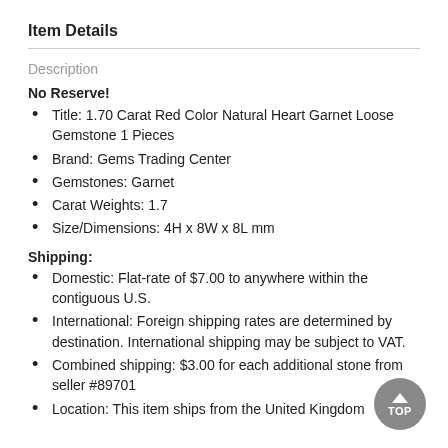Item Details
Description
No Reserve!
Title: 1.70 Carat Red Color Natural Heart Garnet Loose Gemstone 1 Pieces
Brand: Gems Trading Center
Gemstones: Garnet
Carat Weights: 1.7
Size/Dimensions: 4H x 8W x 8L mm
Shipping:
Domestic: Flat-rate of $7.00 to anywhere within the contiguous U.S.
International: Foreign shipping rates are determined by destination. International shipping may be subject to VAT.
Combined shipping: $3.00 for each additional stone from seller #89701
Location: This item ships from the United Kingdom